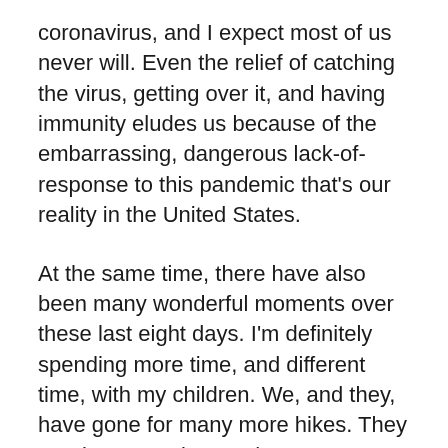coronavirus, and I expect most of us never will. Even the relief of catching the virus, getting over it, and having immunity eludes us because of the embarrassing, dangerous lack-of-response to this pandemic that's our reality in the United States.
At the same time, there have also been many wonderful moments over these last eight days. I'm definitely spending more time, and different time, with my children. We, and they, have gone for many more hikes. They are, by necessity, much more independent, venturing off on walks and through parks without us, the sort of unstructured free play that's all but vanished in our modern, over-parented and over-scheduled era. I've taught my third-grade